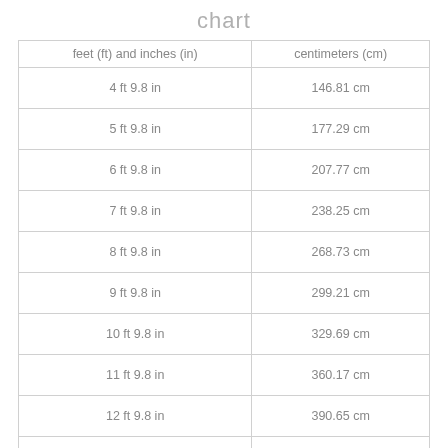chart
| feet (ft) and inches (in) | centimeters (cm) |
| --- | --- |
| 4 ft 9.8 in | 146.81 cm |
| 5 ft 9.8 in | 177.29 cm |
| 6 ft 9.8 in | 207.77 cm |
| 7 ft 9.8 in | 238.25 cm |
| 8 ft 9.8 in | 268.73 cm |
| 9 ft 9.8 in | 299.21 cm |
| 10 ft 9.8 in | 329.69 cm |
| 11 ft 9.8 in | 360.17 cm |
| 12 ft 9.8 in | 390.65 cm |
| 13 ft 9.8 in | 421.13 cm |